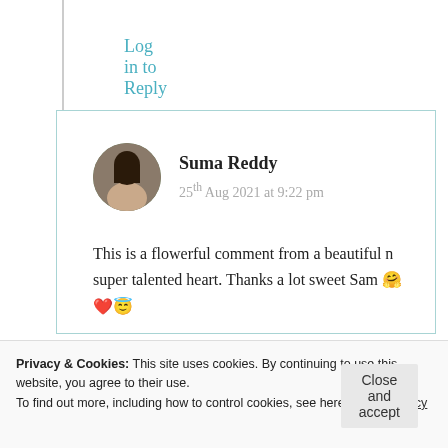Log in to Reply
Suma Reddy
25th Aug 2021 at 9:22 pm
This is a flowerful comment from a beautiful n super talented heart. Thanks a lot sweet Sam 🤗❤️😇
Privacy & Cookies: This site uses cookies. By continuing to use this website, you agree to their use.
To find out more, including how to control cookies, see here: Cookie Policy
Close and accept